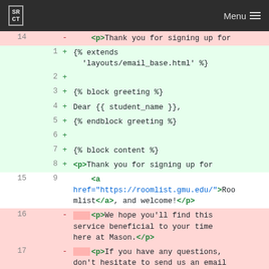SRCT | Menu
[Figure (screenshot): A git diff view showing code changes to an HTML email template. Deleted lines (red background) show old code, added lines (green background) show new template code using Jinja2/template syntax including extends, block greeting, Dear student_name, block content, and a paragraph with a link to roomlist.gmu.edu. Context lines show surrounding HTML paragraph tags.]